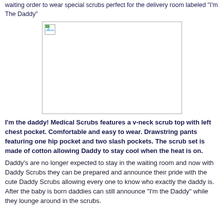waiting order to wear special scrubs perfect for the delivery room labeled "I'm The Daddy"
[Figure (photo): Placeholder image box representing a photo of the Daddy Scrubs product]
I'm the daddy! Medical Scrubs features a v-neck scrub top with left chest pocket. Comfortable and easy to wear. Drawstring pants featuring one hip pocket and two slash pockets. The scrub set is made of cotton allowing Daddy to stay cool when the heat is on.
Daddy's are no longer expected to stay in the waiting room and now with Daddy Scrubs they can be prepared and announce their pride with the cute Daddy Scrubs allowing every one to know who exactly the daddy is. After the baby is born daddies can still announce "I'm the Daddy" while they lounge around in the scrubs.